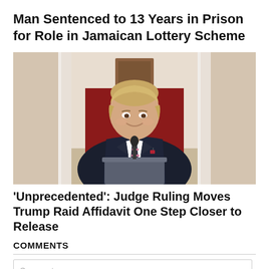Man Sentenced to 13 Years in Prison for Role in Jamaican Lottery Scheme
[Figure (photo): Man in dark suit with striped tie standing at a podium with a microphone, smiling, in a formal hall with red carpet and white columns in the background.]
'Unprecedented': Judge Ruling Moves Trump Raid Affidavit One Step Closer to Release
COMMENTS
Comment